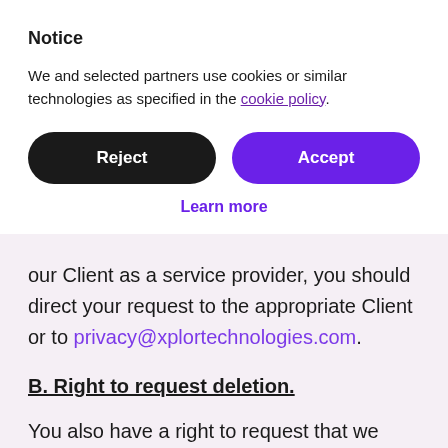Notice
We and selected partners use cookies or similar technologies as specified in the cookie policy.
Reject
Accept
Learn more
our Client as a service provider, you should direct your request to the appropriate Client or to privacy@xplortechnologies.com.
B. Right to request deletion.
You also have a right to request that we delete personal data under certain circumstances, subject